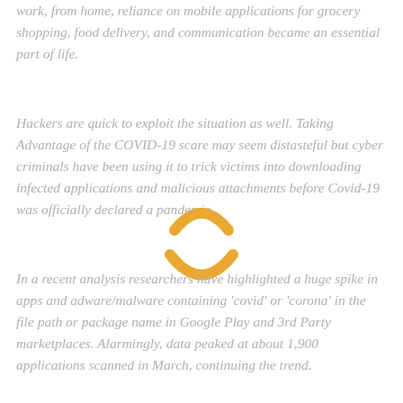work from home, reliance on mobile applications for grocery shopping, food delivery, and communication became an essential part of life.
Hackers are quick to exploit the situation as well. Taking Advantage of the COVID-19 scare may seem distasteful but cyber criminals have been using it to trick victims into downloading infected applications and malicious attachments before Covid-19 was officially declared a pandemic.
In a recent analysis researchers have highlighted a huge spike in apps and adware/malware containing 'covid' or 'corona' in the file path or package name in Google Play and 3rd Party marketplaces. Alarmingly, data peaked at about 1,900 applications scanned in March, continuing the trend.